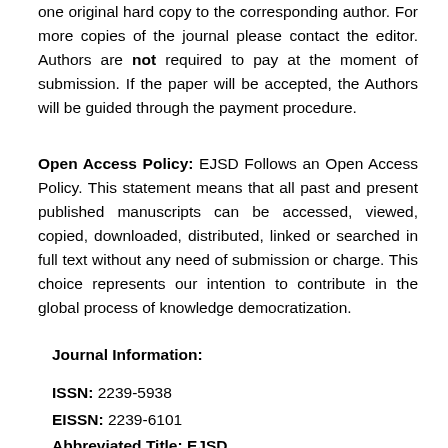one original hard copy to the corresponding author. For more copies of the journal please contact the editor. Authors are not required to pay at the moment of submission. If the paper will be accepted, the Authors will be guided through the payment procedure.
Open Access Policy: EJSD Follows an Open Access Policy. This statement means that all past and present published manuscripts can be accessed, viewed, copied, downloaded, distributed, linked or searched in full text without any need of submission or charge. This choice represents our intention to contribute in the global process of knowledge democratization.
Journal Information:
ISSN: 2239-5938
EISSN: 2239-6101
Abbreviated Title: EJSD